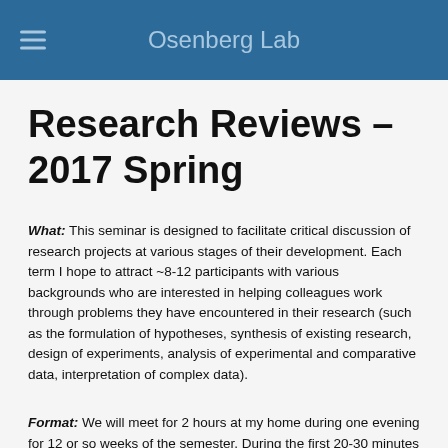Osenberg Lab
Research Reviews – 2017 Spring
What: This seminar is designed to facilitate critical discussion of research projects at various stages of their development. Each term I hope to attract ~8-12 participants with various backgrounds who are interested in helping colleagues work through problems they have encountered in their research (such as the formulation of hypotheses, synthesis of existing research, design of experiments, analysis of experimental and comparative data, interpretation of complex data).
Format: We will meet for 2 hours at my home during one evening for 12 or so weeks of the semester. During the first 20-30 minutes